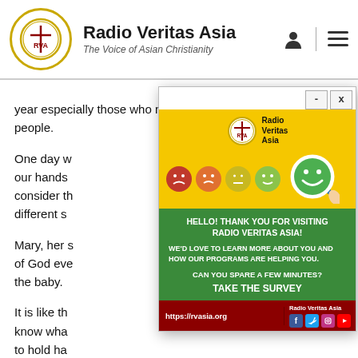Radio Veritas Asia — The Voice of Asian Christianity
year especially those who need our help and give to those people.
One day w... our hands... consider th... different s...
Mary, her s... of God eve... the baby.
It is like th... know wha... to hold ha... and accep...
[Figure (screenshot): Radio Veritas Asia survey popup overlay with yellow and green sections. Yellow section shows RVA logo and five emoji faces ranging from red sad to large green happy with magnifying glass. Green section shows text: HELLO! THANK YOU FOR VISITING RADIO VERITAS ASIA! WE'D LOVE TO LEARN MORE ABOUT YOU AND HOW OUR PROGRAMS ARE HELPING YOU. CAN YOU SPARE A FEW MINUTES? TAKE THE SURVEY. Footer shows https://rvasia.org and Radio Veritas Asia social media icons.]